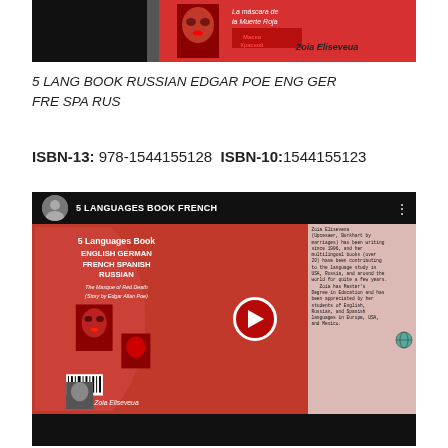[Figure (photo): Top partial image of a book cover with red background, mask image, and author name Zoia Eliseveua on black background]
5 LANG BOOK RUSSIAN EDGAR POE ENG GER FRE SPA RUS
ISBN-13: 978-1544155128 ISBN-10: 1544155123
[Figure (screenshot): YouTube video thumbnail showing '5 LANGUAGES BOOK FRENCH' with book cover of 5 Languages Book English German French Spanish Russian (The Masque of Red Death by Edgar Allan Poe) and author bio text about Zoia Eliseveva]